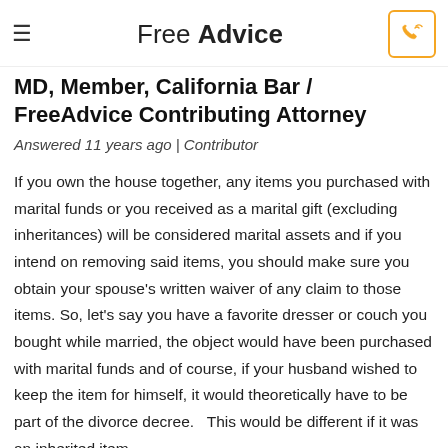Free Advice
MD, Member, California Bar / FreeAdvice Contributing Attorney
Answered 11 years ago | Contributor
If you own the house together, any items you purchased with marital funds or you received as a marital gift (excluding inheritances) will be considered marital assets and if you intend on removing said items, you should make sure you obtain your spouse's written waiver of any claim to those items. So, let's say you have a favorite dresser or couch you bought while married, the object would have been purchased with marital funds and of course, if your husband wished to keep the item for himself, it would theoretically have to be part of the divorce decree.  This would be different if it was an inherited item.